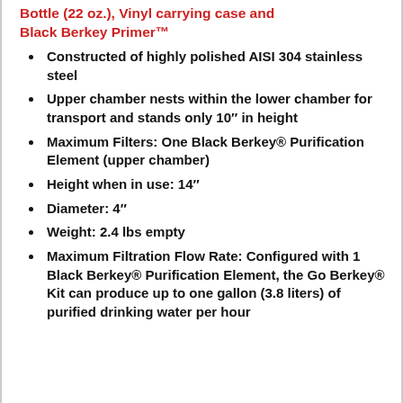Bottle (22 oz.), Vinyl carrying case and Black Berkey Primer™
Constructed of highly polished AISI 304 stainless steel
Upper chamber nests within the lower chamber for transport and stands only 10″ in height
Maximum Filters: One Black Berkey® Purification Element (upper chamber)
Height when in use: 14″
Diameter: 4″
Weight: 2.4 lbs empty
Maximum Filtration Flow Rate: Configured with 1 Black Berkey® Purification Element, the Go Berkey® Kit can produce up to one gallon (3.8 liters) of purified drinking water per hour